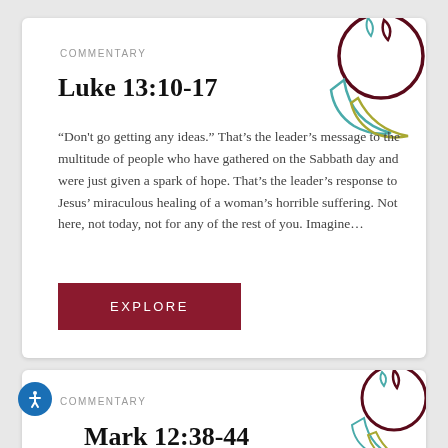COMMENTARY
Luke 13:10-17
“Don't go getting any ideas.” That's the leader's message to the multitude of people who have gathered on the Sabbath day and were just given a spark of hope. That's the leader's response to Jesus' miraculous healing of a woman's horrible suffering. Not here, not today, not for any of the rest of you. Imagine...
COMMENTARY
Mark 12:38-44